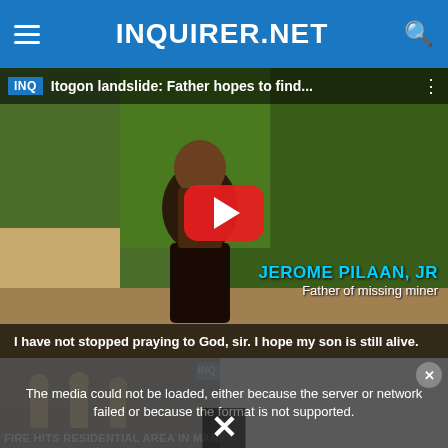INQUIRER.NET
[Figure (screenshot): YouTube-style embedded video player showing a man being interviewed outdoors with vegetation/greenery in the background. Video title: 'Itogon landslide: Father hopes to find...' Lower-third graphic shows 'JEROME PILAAN, JR - Father of missing miner'. Subtitle reads: 'I have not stopped praying to God, sir. I hope my son is still alive.']
[Figure (screenshot): Second video thumbnail showing firefighters at a scene, titled 'FIRE HITS RESIDENTIAL AREA IN MANILA'. Overlaid with a media error message: 'The media could not be loaded, either because the server or network failed or because the format is not supported.' A close (X) button is visible.]
The media could not be loaded, either because the server or network failed or because the format is not supported.
Fire hits residential area in Manila